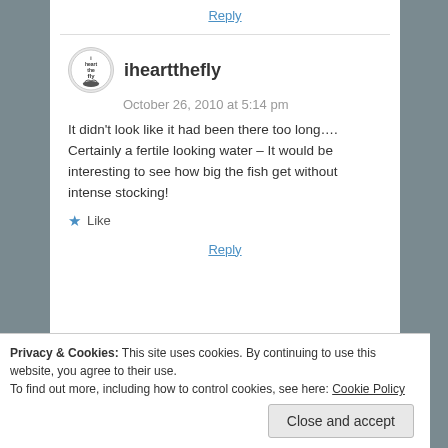Reply
iheartthefly
October 26, 2010 at 5:14 pm
It didn't look like it had been there too long…. Certainly a fertile looking water – It would be interesting to see how big the fish get without intense stocking!
Like
Reply
Privacy & Cookies: This site uses cookies. By continuing to use this website, you agree to their use. To find out more, including how to control cookies, see here: Cookie Policy
Close and accept